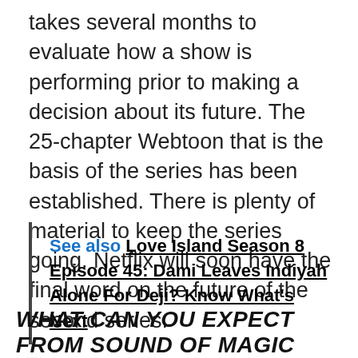takes several months to evaluate how a show is performing prior to making a decision about its future. The 25-chapter Webtoon that is the basis of the series has been established. There is plenty of material to keep the series going. Netflix will soon have the final word on the future of the second series.
See also  Love Island Season 8 Episode 45: Dami Leaves Indiyah Alone For Deji? Know What's Next
WHAT CAN YOU EXPECT FROM SOUND OF MAGIC